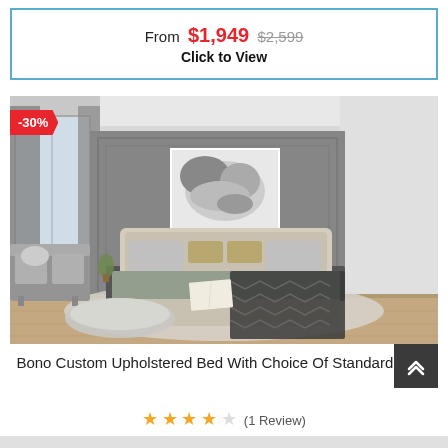From $1,949 $2,599 Click to View
[Figure (photo): Modern styled bedroom with upholstered bed, grey walls, artwork above headboard, two bedside lamps, chevron throw blanket, pillows on floor, -30% discount badge]
Bono Custom Upholstered Bed With Choice Of Standard Base
★★★★☆ (1 Review)